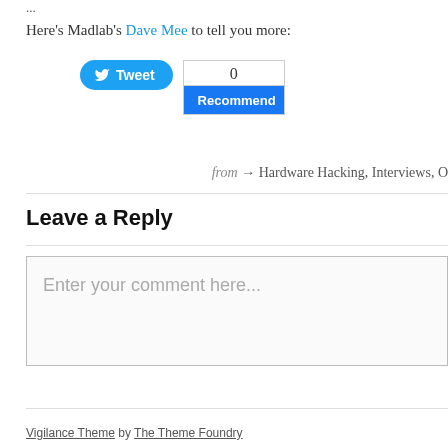...
Here's Madlab's Dave Mee to tell you more:
[Figure (screenshot): Twitter Tweet button and Facebook Recommend widget with count 0]
from → Hardware Hacking, Interviews, O...
Leave a Reply
Enter your comment here...
Vigilance Theme by The Theme Foundry